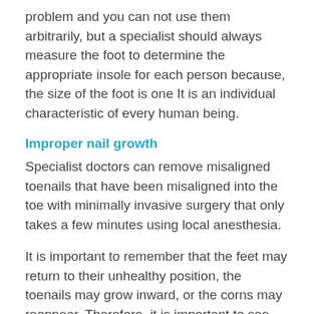problem and you can not use them arbitrarily, but a specialist should always measure the foot to determine the appropriate insole for each person because, the size of the foot is one It is an individual characteristic of every human being.
Improper nail growth
Specialist doctors can remove misaligned toenails that have been misaligned into the toe with minimally invasive surgery that only takes a few minutes using local anesthesia.
It is important to remember that the feet may return to their unhealthy position, the toenails may grow inward, or the corns may reappear. Therefore, it is important to see your doctor regularly.
Flat fe...